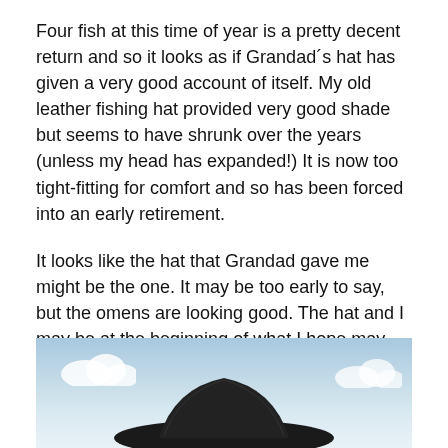Four fish at this time of year is a pretty decent return and so it looks as if Grandad´s hat has given a very good account of itself. My old leather fishing hat provided very good shade but seems to have shrunk over the years (unless my head has expanded!) It is now too tight-fitting for comfort and so has been forced into an early retirement.
It looks like the hat that Grandad gave me might be the one. It may be too early to say, but the omens are looking good. The hat and I may be at the beginning of what I hope may turn out to be a happy and enduring partnership.
[Figure (photo): Partial photo showing a blue sky background with what appears to be the top of a dark hat visible at the bottom of the image.]